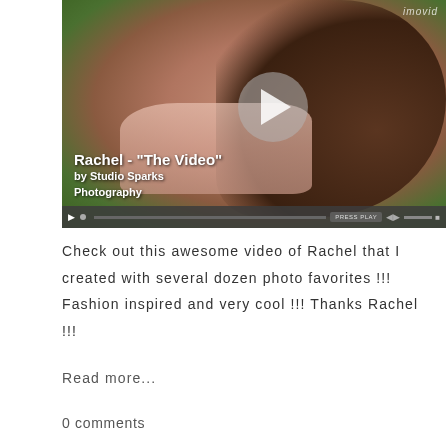[Figure (photo): Video thumbnail showing a young woman smiling with her hand raised to her head, wearing a pink striped shirt, with green foliage in the background. Overlay text reads 'Rachel - "The Video"' and 'by Studio Sparks Photography'. A play button is visible in the center and a media player controls bar is at the bottom.]
Check out this awesome video of Rachel that I created with several dozen photo favorites !!! Fashion inspired and very cool !!! Thanks Rachel !!!
Read more...
0 comments